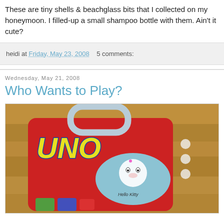These are tiny shells & beachglass bits that I collected on my honeymoon. I filled-up a small shampoo bottle with them. Ain't it cute?
heidi at Friday, May 23, 2008  5 comments:
Wednesday, May 21, 2008
Who Wants to Play?
[Figure (photo): A Hello Kitty UNO card game tin/box with a blue handle, red body with UNO logo in yellow, Hello Kitty illustration on a blue oval, and flower decorations on the side. Photographed on a wooden surface.]